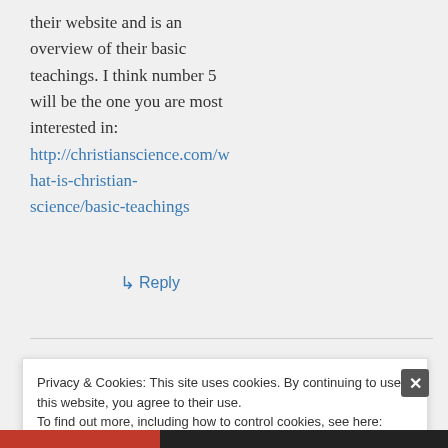their website and is an overview of their basic teachings. I think number 5 will be the one you are most interested in: http://christianscience.com/what-is-christian-science/basic-teachings
↳ Reply
Privacy & Cookies: This site uses cookies. By continuing to use this website, you agree to their use. To find out more, including how to control cookies, see here: Cookie Policy
Close and accept